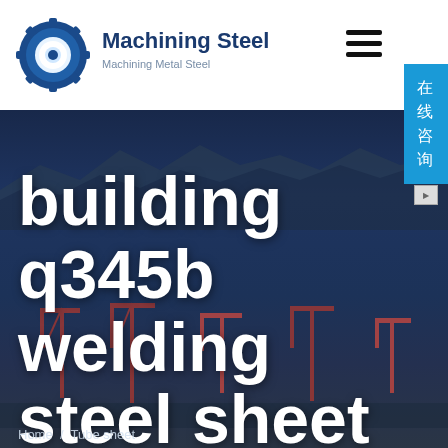[Figure (logo): Machining Steel gear/cog logo in blue with white center gear]
Machining Steel
Machining Metal Steel
[Figure (infographic): Hamburger menu icon (three horizontal lines) in top right]
[Figure (infographic): Chinese online consultation button (在线咨询) in blue on right side]
[Figure (photo): Dark blue industrial hero background image showing mountains and construction cranes at a port/shipyard]
building q345b welding steel sheet manufacture
Home  /  Tube sheet